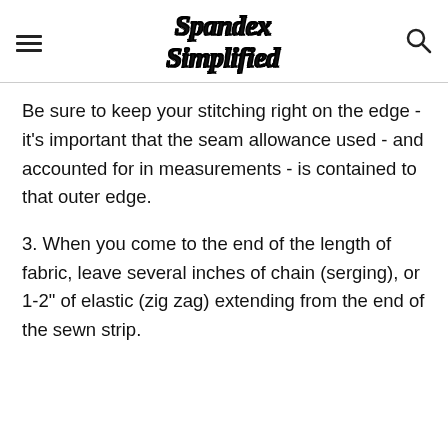Spandex Simplified
Be sure to keep your stitching right on the edge - it's important that the seam allowance used - and accounted for in measurements - is contained to that outer edge.
3. When you come to the end of the length of fabric, leave several inches of chain (serging), or 1-2" of elastic (zig zag) extending from the end of the sewn strip.